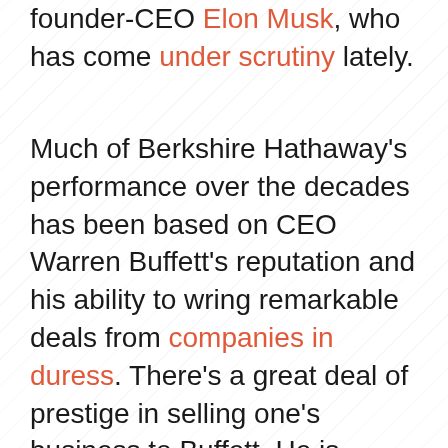founder-CEO Elon Musk, who has come under scrutiny lately.
Much of Berkshire Hathaway's performance over the decades has been based on CEO Warren Buffett's reputation and his ability to wring remarkable deals from companies in duress. There's a great deal of prestige in selling one's business to Buffett. He is irreplaceable; given his remarkable long-term record of accomplishment, it is important that much of what he has built over the years remains intact once he is gone. Buffett has built a strong culture that is likely to endure.